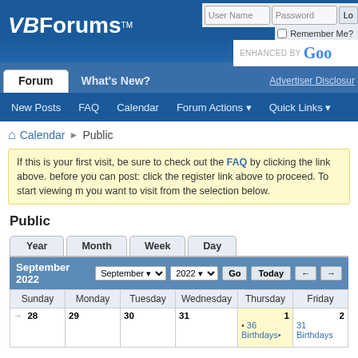VBForums
Forum | What's New?
New Posts  FAQ  Calendar  Forum Actions  Quick Links
Calendar > Public
If this is your first visit, be sure to check out the FAQ by clicking the link above. before you can post: click the register link above to proceed. To start viewing m you want to visit from the selection below.
Public
Year  Month  Week  Day
September 2022  September v  2022 v  Go  Today  ← →
| Sunday | Monday | Tuesday | Wednesday | Thursday | Friday |
| --- | --- | --- | --- | --- | --- |
| →  28 | 29 | 30 | 31 | 1
• 36 Birthdays | 2
31 Birthdays |